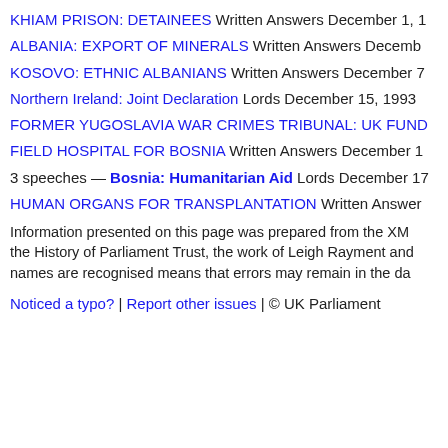KHIAM PRISON: DETAINEES Written Answers December 1, 1…
ALBANIA: EXPORT OF MINERALS Written Answers Decemb…
KOSOVO: ETHNIC ALBANIANS Written Answers December 7…
Northern Ireland: Joint Declaration Lords December 15, 1993
FORMER YUGOSLAVIA WAR CRIMES TRIBUNAL: UK FUND…
FIELD HOSPITAL FOR BOSNIA Written Answers December 1…
3 speeches — Bosnia: Humanitarian Aid Lords December 17…
HUMAN ORGANS FOR TRANSPLANTATION Written Answer…
Information presented on this page was prepared from the XM… the History of Parliament Trust, the work of Leigh Rayment and… names are recognised means that errors may remain in the da…
Noticed a typo? | Report other issues | © UK Parliament